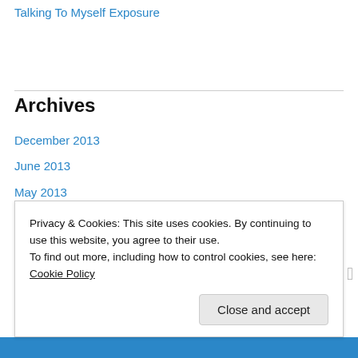Talking To Myself
Exposure
Archives
December 2013
June 2013
May 2013
April 2013
March 2013
February 2013
January 2013
December 2012
Privacy & Cookies: This site uses cookies. By continuing to use this website, you agree to their use.
To find out more, including how to control cookies, see here: Cookie Policy
Close and accept